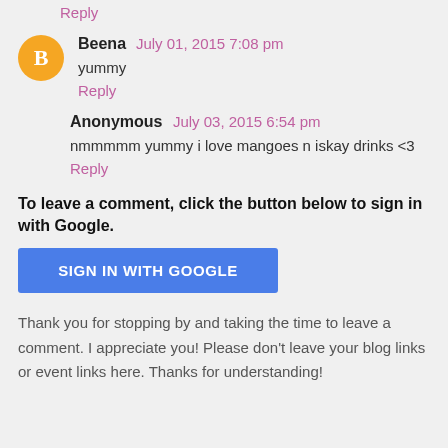Reply
Beena July 01, 2015 7:08 pm
yummy
Reply
Anonymous July 03, 2015 6:54 pm
nmmmmm yummy i love mangoes n iskay drinks <3
Reply
To leave a comment, click the button below to sign in with Google.
SIGN IN WITH GOOGLE
Thank you for stopping by and taking the time to leave a comment. I appreciate you! Please don't leave your blog links or event links here. Thanks for understanding!